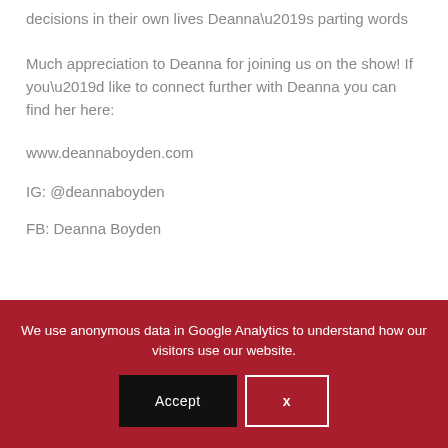decisions in their own lives Deanna’s parting words
Much appreciation to Deanna for joining us on the show! If you’d like to connect further with Deanna you can find her here:
www.deannaboyden.com
IG: @deannaboyden
FB: Deanna Boyden
We use anonymous data in Google Analytics to understand how our visitors use our website.